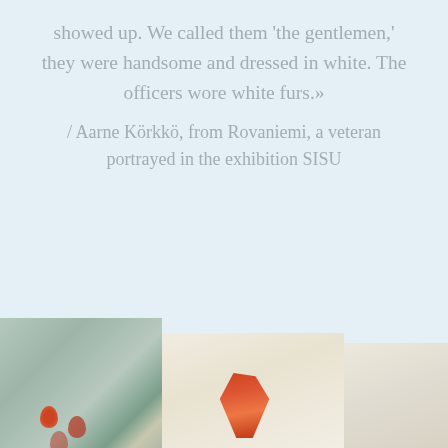showed up. We called them 'the gentlemen,' they were handsome and dressed in white. The officers wore white furs.»
/ Aarne Körkkö, from Rovaniemi, a veteran portrayed in the exhibition SISU
[Figure (photo): Three partially visible artwork or photograph panels arranged side by side at the bottom of the page. The leftmost panel shows a muted green-gray background with small red poppy-like flowers. The middle panel shows a cream/off-white background with a red butterfly or flower shape. The rightmost panel is a light beige/cream tone.]